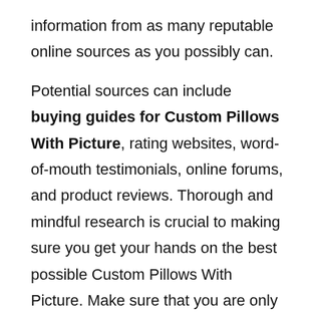information from as many reputable online sources as you possibly can.
Potential sources can include buying guides for Custom Pillows With Picture, rating websites, word-of-mouth testimonials, online forums, and product reviews. Thorough and mindful research is crucial to making sure you get your hands on the best possible Custom Pillows With Picture. Make sure that you are only using trustworthy and credible websites and sources.